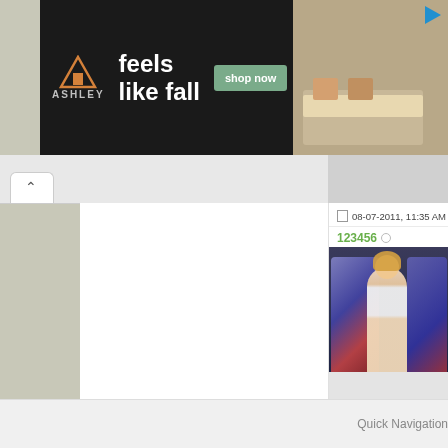[Figure (screenshot): Ashley Furniture advertisement banner: dark background with logo, 'feels like fall' tagline, 'shop now' button, bedroom photo on right, play icon in corner]
08-07-2011, 11:35 AM
123456
[Figure (photo): Profile avatar photo: woman in white bikini standing between motorcycles in a garage]
| Join Date: | Mar 2010 |
| Posts: | 412 |
| +1: | 6 |
Quick Navigation